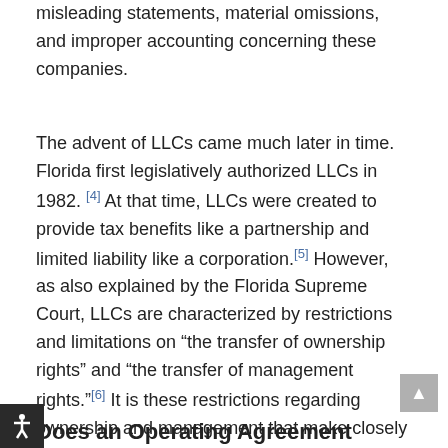misleading statements, material omissions, and improper accounting concerning these companies.
The advent of LLCs came much later in time. Florida first legislatively authorized LLCs in 1982. [4] At that time, LLCs were created to provide tax benefits like a partnership and limited liability like a corporation.[5] However, as also explained by the Florida Supreme Court, LLCs are characterized by restrictions and limitations on "the transfer of ownership rights" and "the transfer of management rights."[6] It is these restrictions regarding ownership and management that make closely held LLCs desirable to own while at the same time making their business divorces more challenging.[7]
Does an Operating Agreement Exist?